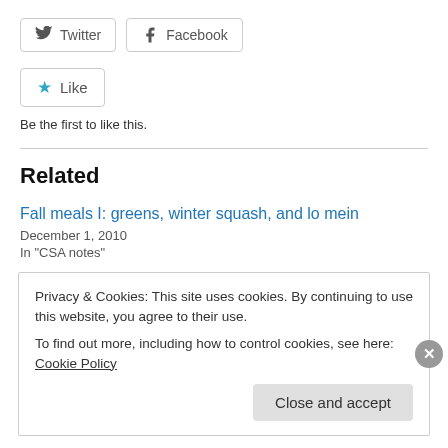[Figure (other): Twitter and Facebook share buttons]
[Figure (other): Like button with star icon]
Be the first to like this.
Related
Fall meals I: greens, winter squash, and lo mein
December 1, 2010
In "CSA notes"
Pre-season III
Privacy & Cookies: This site uses cookies. By continuing to use this website, you agree to their use.
To find out more, including how to control cookies, see here: Cookie Policy